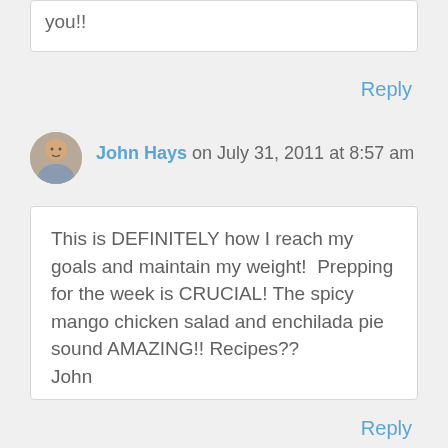you!!
Reply
John Hays on July 31, 2011 at 8:57 am
This is DEFINITELY how I reach my goals and maintain my weight!  Prepping for the week is CRUCIAL! The spicy mango chicken salad and enchilada pie sound AMAZING!! Recipes?? John
Reply